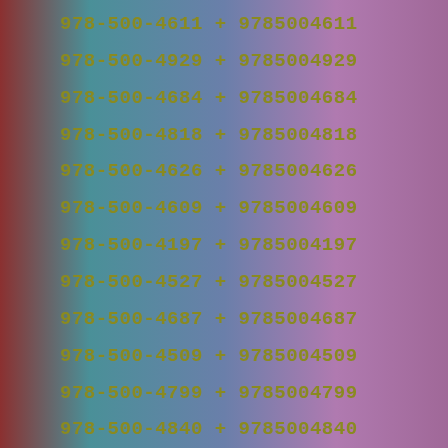978-500-4611 + 9785004611
978-500-4929 + 9785004929
978-500-4684 + 9785004684
978-500-4818 + 9785004818
978-500-4626 + 9785004626
978-500-4609 + 9785004609
978-500-4197 + 9785004197
978-500-4527 + 9785004527
978-500-4687 + 9785004687
978-500-4509 + 9785004509
978-500-4799 + 9785004799
978-500-4840 + 9785004840
978-500-4457 + 9785004457
978-500-4342 + 9785004342
978-500-4411 + 9785004411
978-500-4338 + 9785004338
978-500-4168 + 9785004168
978-500-4796 + 9785004796
978-500-4200 + 9785004200
978-500-4319 + 9785004319
978-500-4662 + 9785004662
978-500-4681 + 9785004681